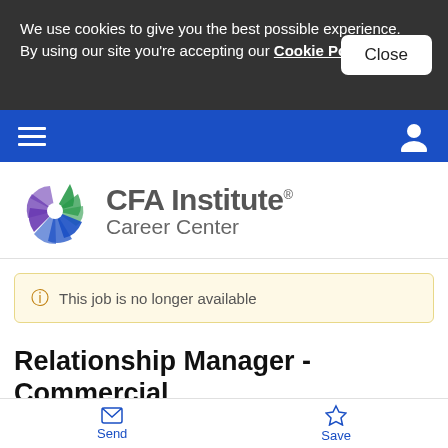We use cookies to give you the best possible experience. By using our site you're accepting our Cookie Policy
[Figure (logo): CFA Institute Career Center logo with pinwheel graphic]
This job is no longer available
Relationship Manager - Commercial Real Estate Banking
Send  Save